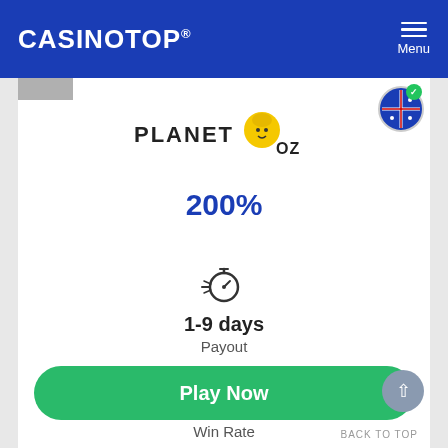CASINOTOP® Menu
[Figure (logo): Planet OZ casino logo with yellow wizard/magician graphic]
200%
[Figure (infographic): Stopwatch/timer icon representing payout speed]
1-9 days
Payout
[Figure (infographic): Circular refresh/lightning bolt icon representing Win Rate]
Win Rate
Play Now
BACK TO TOP